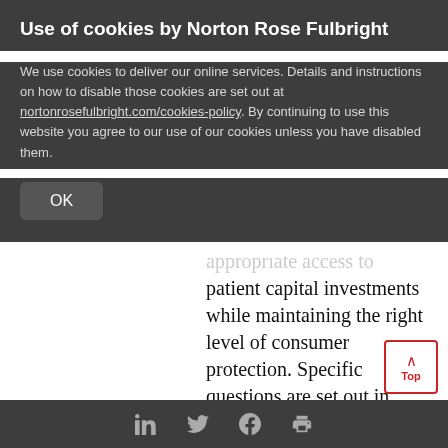Use of cookies by Norton Rose Fulbright
We use cookies to deliver our online services. Details and instructions on how to disable those cookies are set out at nortonrosefulbright.com/cookies-policy. By continuing to use this website you agree to our use of our cookies unless you have disabled them.
OK
appropriate access to patient capital investments while maintaining the right level of consumer protection. Specific questions are set out in Chapters 3 and 4 on patient capital in authorised funds and
LinkedIn Twitter Facebook Print